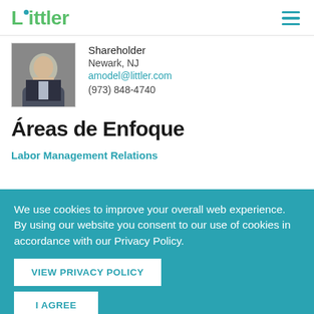Littler
Shareholder
Newark, NJ
amodel@littler.com
(973) 848-4740
Áreas de Enfoque
Labor Management Relations
We use cookies to improve your overall web experience. By using our website you consent to our use of cookies in accordance with our Privacy Policy.
VIEW PRIVACY POLICY
I AGREE